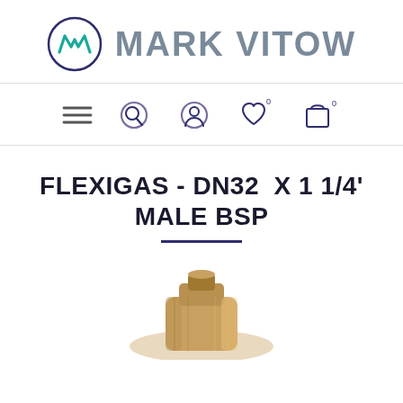[Figure (logo): Mark Vitow company logo: circular purple/navy border with teal lightning bolt/M icon, text 'MARK VITOW' in gray]
[Figure (screenshot): Navigation bar with hamburger menu, search icon, user account icon, heart/wishlist icon with 0 badge, shopping bag icon with 0 badge]
FLEXIGAS - DN32  X 1 1/4' MALE BSP
[Figure (photo): Partial product photo of a brass/metal plumbing fitting at the bottom of the page]